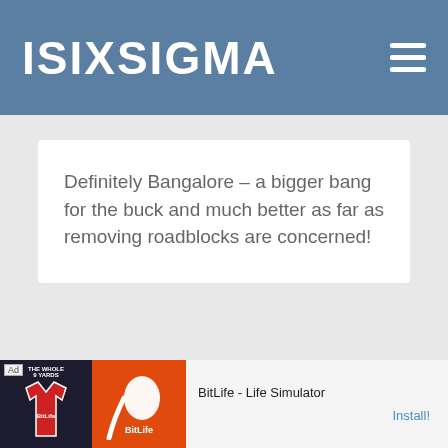ISIXSIGMA
Definitely Bangalore – a bigger bang for the buck and much better as far as removing roadblocks are concerned!
[Figure (screenshot): Advertisement banner for BitLife - Life Simulator app, showing a football shirt graphic and a BitLife logo on orange background, with an Install button.]